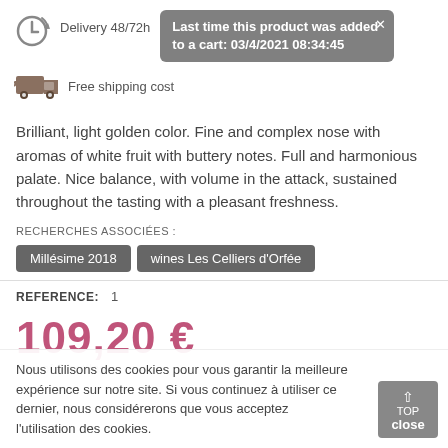[Figure (infographic): Clock/delivery icon and truck/shipping icon with text labels and tooltip notification]
Delivery 48/72h
Last time this product was added to a cart: 03/4/2021 08:34:45
Free shipping cost
Brilliant, light golden color. Fine and complex nose with aromas of white fruit with buttery notes. Full and harmonious palate. Nice balance, with volume in the attack, sustained throughout the tasting with a pleasant freshness.
RECHERCHES ASSOCIÉES :
Millésime 2018
wines Les Celliers d'Orfée
REFERENCE:  1
109,20 €
Nous utilisons des cookies pour vous garantir la meilleure expérience sur notre site. Si vous continuez à utiliser ce dernier, nous considérerons que vous acceptez l'utilisation des cookies.